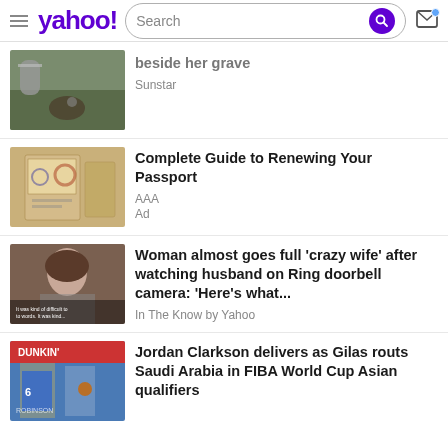yahoo! Search
[Figure (photo): Thumbnail of a grave/outdoor scene with dirt and grass]
beside her grave
Sunstar
[Figure (photo): Thumbnail of a passport with stamps]
Complete Guide to Renewing Your Passport
AAA
Ad
[Figure (photo): Thumbnail of a woman crying, video still with caption text]
Woman almost goes full 'crazy wife' after watching husband on Ring doorbell camera: 'Here's what...
In The Know by Yahoo
[Figure (photo): Thumbnail of basketball players, one wearing #6, with Dunkin branding]
Jordan Clarkson delivers as Gilas routs Saudi Arabia in FIBA World Cup Asian qualifiers